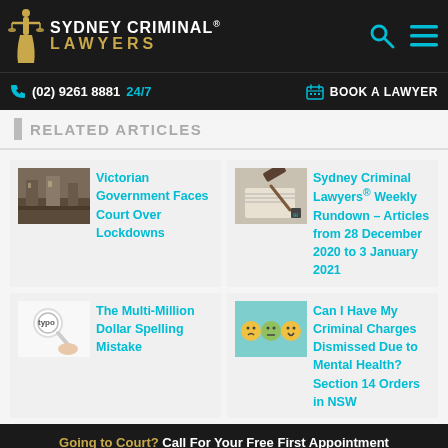Sydney Criminal Lawyers® - header with phone (02) 9261 8881 24/7 and BOOK A LAWYER
RELATED ARTICLES
[Figure (screenshot): Article card: Victorian Government Faces Court Over Lockdowns - thumbnail of old street]
[Figure (screenshot): Article card: Sydney Criminal Lawyers® Weekly Rundown – Articles from 28 December 2020 to 3 January 2021 - thumbnail of gavel]
[Figure (screenshot): Article card: The Multi-Million Dollar Spelling Mistake - thumbnail with typo magnifying glass]
[Figure (screenshot): Article card: Can I Have My Criminal Charges Dismissed Due to Mental Health? Section 14 Orders in NSW - thumbnail of emoji faces]
Going to Court? Call For Your Free First Appointment